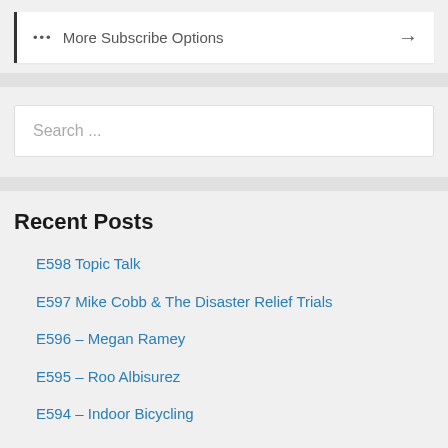... More Subscribe Options →
Search ...
Recent Posts
E598 Topic Talk
E597 Mike Cobb & The Disaster Relief Trials
E596 – Megan Ramey
E595 – Roo Albisurez
E594 – Indoor Bicycling
Archives